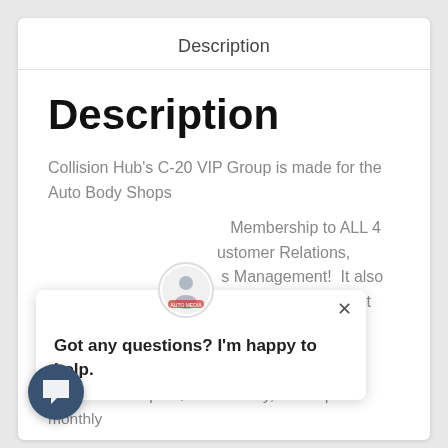Description
Description
Collision Hub's C-20 VIP Group is made for the Auto Body Shops
Membership to ALL 4 Customer Relations, Management! It also includes access to our Learning Management System over 30 courses!
C-20 VIP Group is $300/monthly, subsequent monthly
[Figure (other): Chat widget overlay with avatar logo, close button, and message: Got any questions? I'm happy to help.]
[Figure (other): Dark circular chat button with speech bubble icon at bottom left]